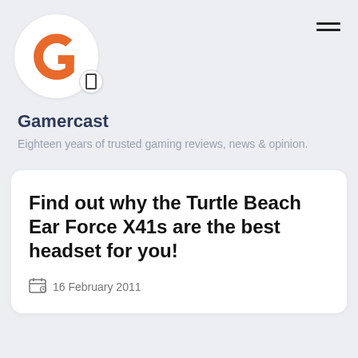[Figure (logo): Gamercast logo: orange G letter inside white circle, with a small badge circle containing a bookmark icon]
Gamercast
Eighteen years of trusted gaming reviews, news & opinion.
Find out why the Turtle Beach Ear Force X41s are the best headset for you!
16 February 2011